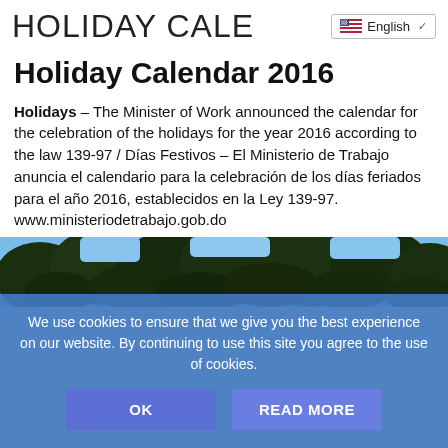HOLIDAY CALE  English
Holiday Calendar 2016
Holidays – The Minister of Work announced the calendar for the celebration of the holidays for the year 2016 according to the law 139-97 / Días Festivos – El Ministerio de Trabajo anuncia el calendario para la celebración de los días feriados para el año 2016, establecidos en la Ley 139-97. www.ministeriodetrabajo.gob.do
[Figure (photo): Outdoor photo showing trees with dark foliage and blue sky visible in the background]
We use cookies to ensure that we give you the best experience on our website. By continuing to use this site you agree to the use of cookies.